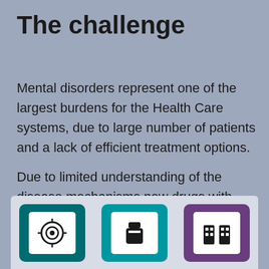The challenge
Mental disorders represent one of the largest burdens for the Health Care systems, due to large number of patients and a lack of efficient treatment options.
Due to limited understanding of the disease mechanisms new drugs with novel therapeutic targets are lacking, and existing treatments are ineffective for many people.
[Figure (infographic): Three icon boxes in a light panel at the bottom: a teal box with a brain/virus icon, a dark teal box with a medicine/pill bottle icon, and a purple box with a building/city icon.]